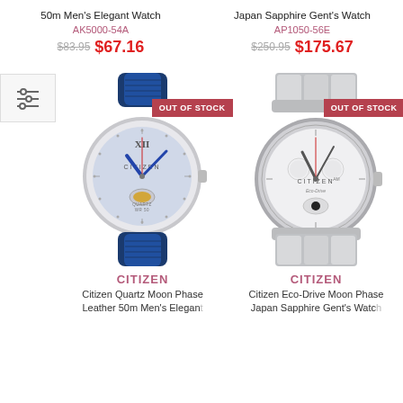50m Men's Elegant Watch
AK5000-54A
$83.95  $67.16
Japan Sapphire Gent's Watch
AP1050-56E
$250.95  $175.67
[Figure (photo): Citizen Quartz Moon Phase watch with blue leather strap and silver dial, OUT OF STOCK badge]
CITIZEN
Citizen Quartz Moon Phase Leather 50m Men's Elegant Watch
[Figure (photo): Citizen Eco-Drive Moon Phase watch with silver stainless steel bracelet, OUT OF STOCK badge]
CITIZEN
Citizen Eco-Drive Moon Phase Japan Sapphire Gent's Watch